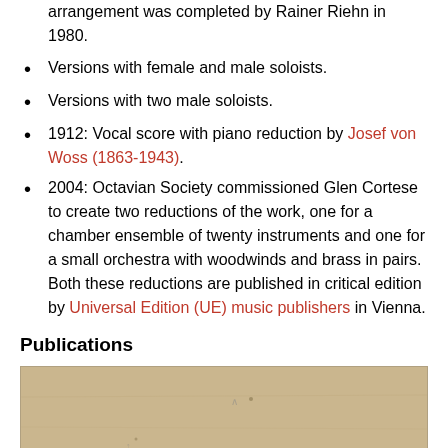arrangement was completed by Rainer Riehn in 1980.
Versions with female and male soloists.
Versions with two male soloists.
1912: Vocal score with piano reduction by Josef von Woss (1863-1943).
2004: Octavian Society commissioned Glen Cortese to create two reductions of the work, one for a chamber ensemble of twenty instruments and one for a small orchestra with woodwinds and brass in pairs. Both these reductions are published in critical edition by Universal Edition (UE) music publishers in Vienna.
Publications
[Figure (photo): A yellowed/aged document or score page, partially visible, with a beige/tan background and some faint markings.]